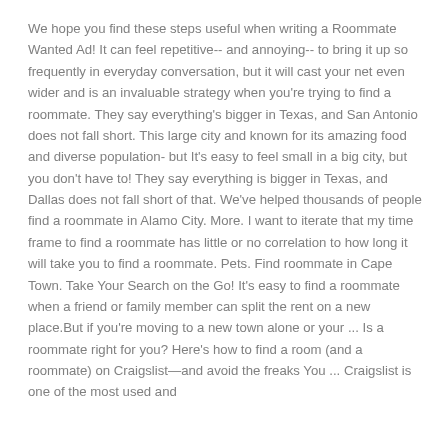We hope you find these steps useful when writing a Roommate Wanted Ad! It can feel repetitive-- and annoying-- to bring it up so frequently in everyday conversation, but it will cast your net even wider and is an invaluable strategy when you're trying to find a roommate. They say everything's bigger in Texas, and San Antonio does not fall short. This large city and known for its amazing food and diverse population- but It's easy to feel small in a big city, but you don't have to! They say everything is bigger in Texas, and Dallas does not fall short of that. We've helped thousands of people find a roommate in Alamo City. More. I want to iterate that my time frame to find a roommate has little or no correlation to how long it will take you to find a roommate. Pets. Find roommate in Cape Town. Take Your Search on the Go! It's easy to find a roommate when a friend or family member can split the rent on a new place.But if you're moving to a new town alone or your ... Is a roommate right for you? Here's how to find a room (and a roommate) on Craigslist—and avoid the freaks You ... Craigslist is one of the most used and